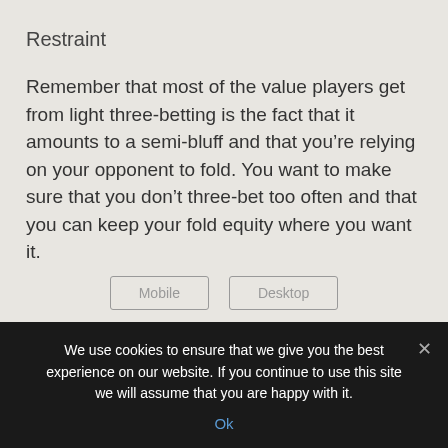Restraint
Remember that most of the value players get from light three-betting is the fact that it amounts to a semi-bluff and that you’re relying on your opponent to fold. You want to make sure that you don’t three-bet too often and that you can keep your fold equity where you want it.
We use cookies to ensure that we give you the best experience on our website. If you continue to use this site we will assume that you are happy with it.
Ok